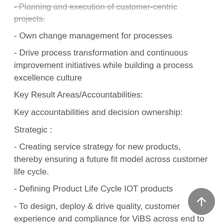- Planning and execution of customer-centric projects.
- Own change management for processes
- Drive process transformation and continuous improvement initiatives while building a process excellence culture
Key Result Areas/Accountabilities:
Key accountabilities and decision ownership:
Strategic :
- Creating service strategy for new products, thereby ensuring a future fit model across customer life cycle.
- Defining Product Life Cycle IOT products
- To design, deploy & drive quality, customer experience and compliance for ViBS across end to end customer life cycle & for all functions/ touch points.
- Mapping customer expectations & deploying robust processes